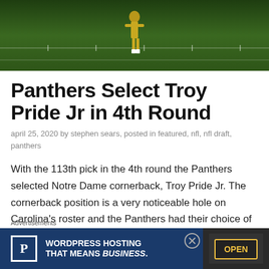[Figure (photo): Football player walking on a grass field, viewed from behind, wearing yellow/gold uniform and white socks]
Panthers Select Troy Pride Jr in 4th Round
april 25, 2020 by stephen sears, posted in featured, nfl, nfl draft, panthers
With the 113th pick in the 4th round the Panthers selected Notre Dame cornerback, Troy Pride Jr. The cornerback position is a very noticeable hole on Carolina's roster and the Panthers had their choice of cornerback at this pick and decided Pride was their
Advertisements
[Figure (screenshot): WordPress Hosting advertisement banner: blue background with P logo, text WORDPRESS HOSTING THAT MEANS BUSINESS., and OPEN sign image on right]